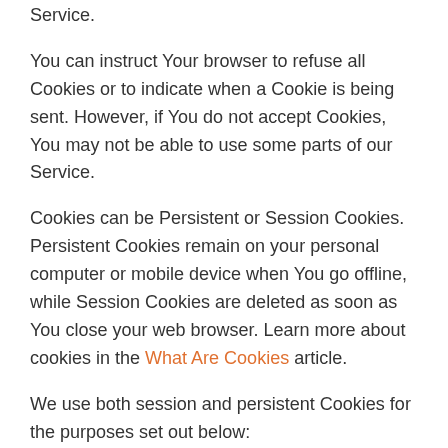Service.
You can instruct Your browser to refuse all Cookies or to indicate when a Cookie is being sent. However, if You do not accept Cookies, You may not be able to use some parts of our Service.
Cookies can be Persistent or Session Cookies. Persistent Cookies remain on your personal computer or mobile device when You go offline, while Session Cookies are deleted as soon as You close your web browser. Learn more about cookies in the What Are Cookies article.
We use both session and persistent Cookies for the purposes set out below:
Necessary / Essential Cookies